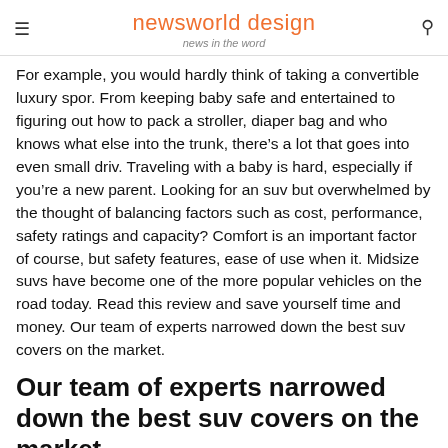newsworld design
news in the word
For example, you would hardly think of taking a convertible luxury spor. From keeping baby safe and entertained to figuring out how to pack a stroller, diaper bag and who knows what else into the trunk, there’s a lot that goes into even small driv. Traveling with a baby is hard, especially if you’re a new parent. Looking for an suv but overwhelmed by the thought of balancing factors such as cost, performance, safety ratings and capacity? Comfort is an important factor of course, but safety features, ease of use when it. Midsize suvs have become one of the more popular vehicles on the road today. Read this review and save yourself time and money. Our team of experts narrowed down the best suv covers on the market.
Our team of experts narrowed down the best suv covers on the market.
For example, you would hardly think of taking a convertible